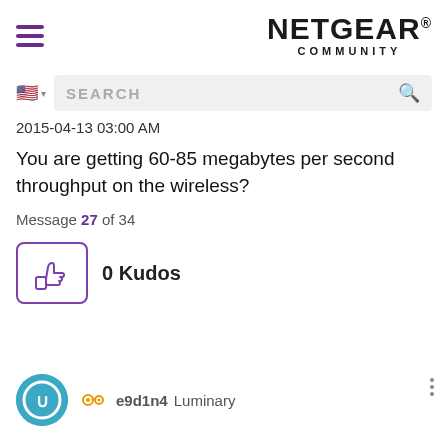[Figure (logo): Netgear Community logo with hamburger menu icon on left and NETGEAR COMMUNITY text logo on right]
[Figure (screenshot): Search bar with US flag icon and magnifying glass search icon]
2015-04-13 03:00 AM
You are getting 60-85 megabytes per second throughput on the wireless?
Message 27 of 34
[Figure (infographic): Thumbs up kudos button with 0 Kudos label]
[Figure (infographic): User avatar circle with teal background, settings/gear icon in orange, username e9d1n4, role Luminary]